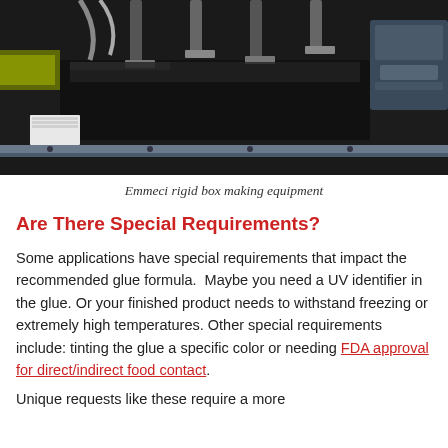[Figure (photo): Industrial rigid box making equipment — Emmeci brand machinery with metal arms and conveyor belts in a manufacturing facility]
Emmeci rigid box making equipment
Are There Special Requirements?
Some applications have special requirements that impact the recommended glue formula. Maybe you need a UV identifier in the glue. Or your finished product needs to withstand freezing or extremely high temperatures. Other special requirements include: tinting the glue a specific color or needing FDA approval for direct/indirect food contact.
Unique requests like these require a more